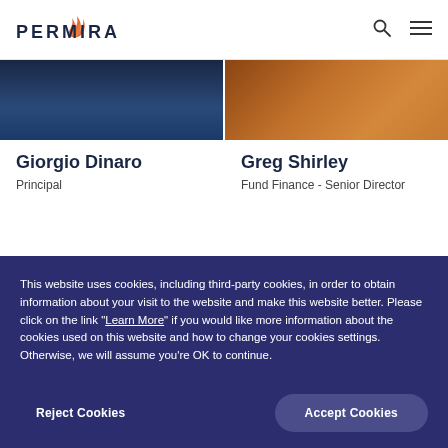[Figure (logo): Permira logo with orange flame icon and dark navy text]
Giorgio Dinaro
Principal
Greg Shirley
Fund Finance - Senior Director
[Figure (photo): Partial photo of person (left card, bottom row)]
[Figure (photo): Partial photo of person (right card, bottom row)]
This website uses cookies, including third-party cookies, in order to obtain information about your visit to the website and make this website better. Please click on the link "Learn More" if you would like more information about the cookies used on this website and how to change your cookies settings. Otherwise, we will assume you're OK to continue.
Reject Cookies
Accept Cookies